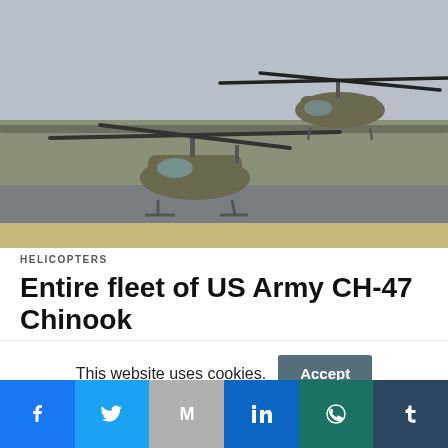[Figure (photo): Two CH-47 Chinook helicopters on a runway, one on the ground and one hovering, with bare trees in the background on an overcast day.]
HELICOPTERS
Entire fleet of US Army CH-47 Chinook
This website uses cookies.
[Figure (infographic): Social media sharing bar with Facebook, Twitter, Gmail, LinkedIn, WhatsApp, and Tumblr icons.]